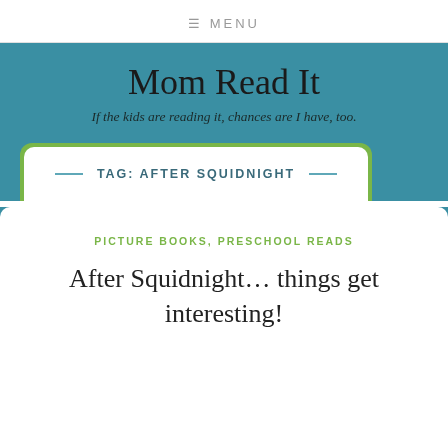≡ MENU
Mom Read It
If the kids are reading it, chances are I have, too.
TAG: AFTER SQUIDNIGHT
PICTURE BOOKS, PRESCHOOL READS
After Squidnight… things get interesting!